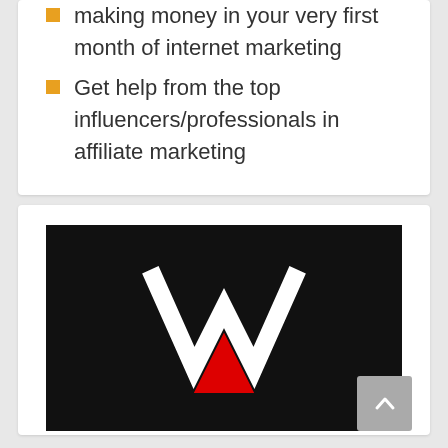making money in your very first month of internet marketing
Get help from the top influencers/professionals in affiliate marketing
[Figure (logo): Black background with a white stylized W shape and a red triangle beneath it, forming a logo mark.]